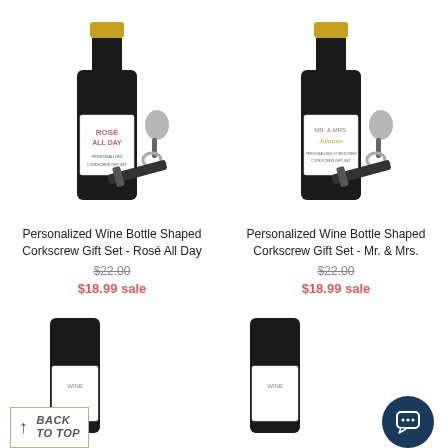[Figure (photo): Personalized wine bottle shaped corkscrew gift set - Rosé All Day product image with black bottle, gold cap, and wine accessories]
Personalized Wine Bottle Shaped Corkscrew Gift Set - Rosé All Day
$22.00 (strikethrough original price)
$18.99 sale
[Figure (photo): Personalized wine bottle shaped corkscrew gift set - Mr. & Mrs. product image with black bottle, gold cap, and wine accessories]
Personalized Wine Bottle Shaped Corkscrew Gift Set - Mr. & Mrs.
$22.00 (strikethrough original price)
$18.99 sale
[Figure (photo): Partial view of another wine bottle product, bottom half of page, left column]
[Figure (photo): Partial view of another wine bottle product, bottom half of page, right column]
↑ BACK TO TOP
[Figure (other): Chat button icon - dark navy circle with speech bubble icon]